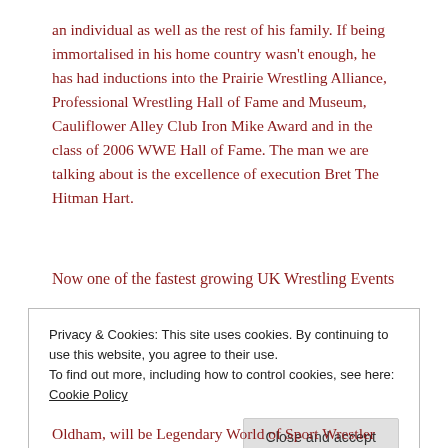an individual as well as the rest of his family. If being immortalised in his home country wasn't enough, he has had inductions into the Prairie Wrestling Alliance, Professional Wrestling Hall of Fame and Museum, Cauliflower Alley Club Iron Mike Award and in the class of 2006 WWE Hall of Fame. The man we are talking about is the excellence of execution Bret The Hitman Hart.
Now one of the fastest growing UK Wrestling Events
Privacy & Cookies: This site uses cookies. By continuing to use this website, you agree to their use.
To find out more, including how to control cookies, see here: Cookie Policy
Close and accept
Oldham, will be Legendary World of Sport Wrestler